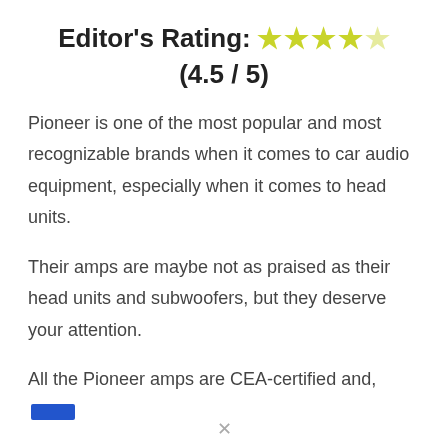Editor's Rating: ★★★★☆ (4.5 / 5)
Pioneer is one of the most popular and most recognizable brands when it comes to car audio equipment, especially when it comes to head units.
Their amps are maybe not as praised as their head units and subwoofers, but they deserve your attention.
All the Pioneer amps are CEA-certified and,